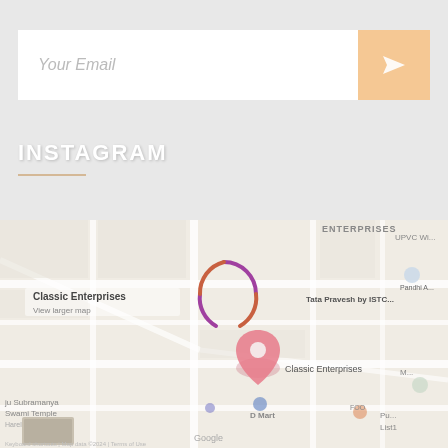[Figure (other): Email subscription bar with placeholder text 'Your Email' and an orange send button with arrow icon]
INSTAGRAM
[Figure (map): Google Maps embedded view showing Classic Enterprises location with surrounding area markers including Tata Pravesh by ISTC, D Mart, UPVC Windows shop, Pandhi Auto Garage, and other local businesses. A dashed circle loading indicator is visible in the center.]